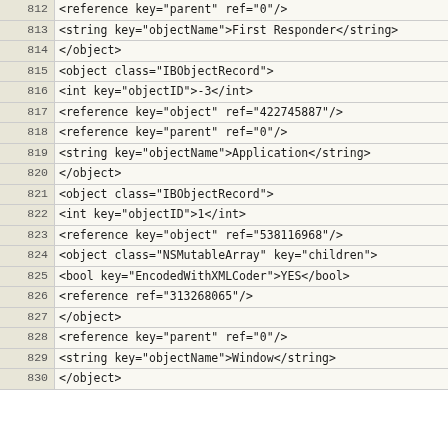| line | code |
| --- | --- |
| 812 | <reference key="parent" ref="0"/> |
| 813 | <string key="objectName">First Responder</string> |
| 814 | </object> |
| 815 | <object class="IBObjectRecord"> |
| 816 | <int key="objectID">-3</int> |
| 817 | <reference key="object" ref="422745887"/> |
| 818 | <reference key="parent" ref="0"/> |
| 819 | <string key="objectName">Application</string> |
| 820 | </object> |
| 821 | <object class="IBObjectRecord"> |
| 822 | <int key="objectID">1</int> |
| 823 | <reference key="object" ref="538116968"/> |
| 824 | <object class="NSMutableArray" key="children"> |
| 825 | <bool key="EncodedWithXMLCoder">YES</bool> |
| 826 | <reference ref="313268065"/> |
| 827 | </object> |
| 828 | <reference key="parent" ref="0"/> |
| 829 | <string key="objectName">Window</string> |
| 830 | </object> |